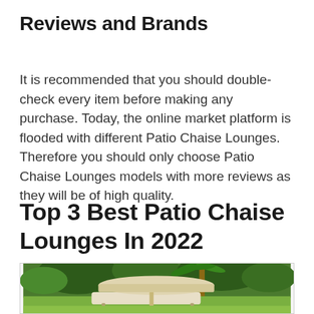Reviews and Brands
It is recommended that you should double-check every item before making any purchase. Today, the online market platform is flooded with different Patio Chaise Lounges. Therefore you should only choose Patio Chaise Lounges models with more reviews as they will be of high quality.
Top 3 Best Patio Chaise Lounges In 2022
[Figure (photo): Outdoor patio area with a chaise lounge chair with white canopy/awning, surrounded by green tropical plants and palm trees in a garden setting.]